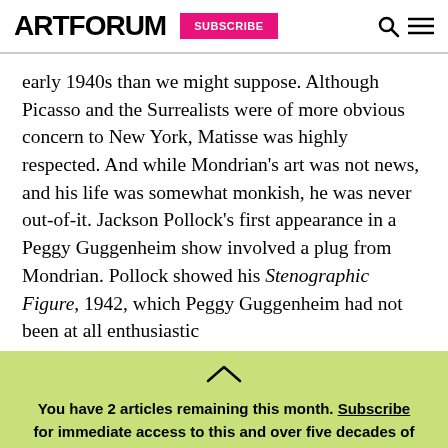ARTFORUM | SUBSCRIBE
early 1940s than we might suppose. Although Picasso and the Surrealists were of more obvious concern to New York, Matisse was highly respected. And while Mondrian's art was not news, and his life was somewhat monkish, he was never out-of-it. Jackson Pollock's first appearance in a Peggy Guggenheim show involved a plug from Mondrian. Pollock showed his Stenographic Figure, 1942, which Peggy Guggenheim had not been at all enthusiastic
You have 2 articles remaining this month. Subscribe for immediate access to this and over five decades of articles from our archives.